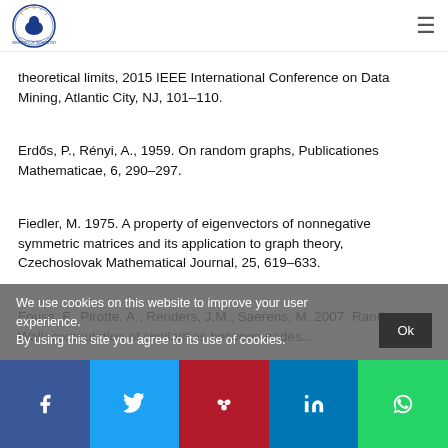University of Technology logo and navigation
theoretical limits, 2015 IEEE International Conference on Data Mining, Atlantic City, NJ, 101–110.
Erdős, P., Rényi, A., 1959. On random graphs, Publicationes Mathematicae, 6, 290–297.
Fiedler, M. 1975. A property of eigenvectors of nonnegative symmetric matrices and its application to graph theory, Czechoslovak Mathematical Journal, 25, 619–633.
Fouss, F., Pirotte, A., Renders, J.M., Saerens, M. 2007. Random Walk computation of similarities between nodes...
We use cookies on this website to improve your user experience. By using this site you agree to its use of cookies.
Social share bar: Facebook, Twitter, Mendeley, LinkedIn, WhatsApp